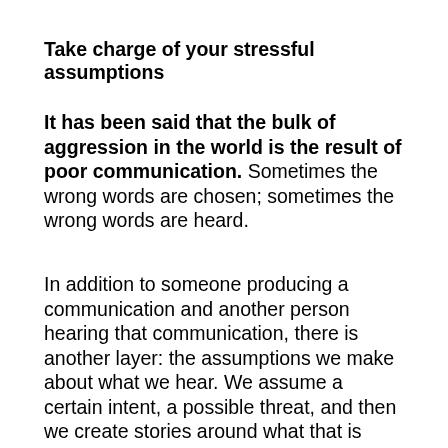Take charge of your stressful assumptions
It has been said that the bulk of aggression in the world is the result of poor communication.  Sometimes the wrong words are chosen; sometimes the wrong words are heard.

In addition to someone producing a communication and another person hearing that communication, there is another layer: the assumptions we make about what we hear.  We assume a certain intent, a possible threat, and then we create stories around what that is going to mean to us – in the future...